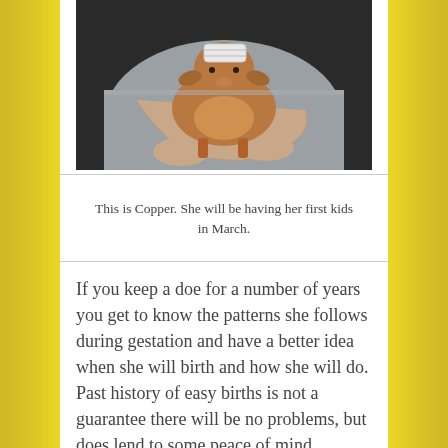[Figure (photo): A person in a grey sweatshirt holding a small brown goat (kid) with a white bandage on its head, cradled in their arms.]
This is Copper. She will be having her first kids in March.
If you keep a doe for a number of years you get to know the patterns she follows during gestation and have a better idea when she will birth and how she will do. Past history of easy births is not a guarantee there will be no problems, but does lend to some peace of mind knowing what to expect in most cases.